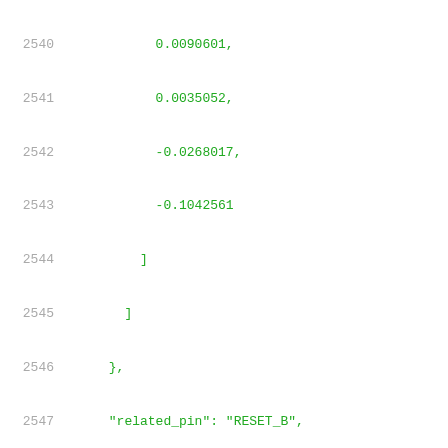Code listing lines 2540-2561 showing JSON/liberty file data with numeric values, related_pin, rise_power, when, max_capacitance, max_transition, power_down_function, related_ground_pin, related_power_pin, timing fields